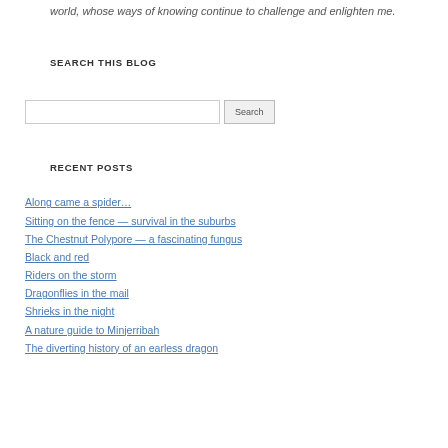world, whose ways of knowing continue to challenge and enlighten me.
SEARCH THIS BLOG
[Figure (other): Search input box with Search button]
RECENT POSTS
Along came a spider…
Sitting on the fence — survival in the suburbs
The Chestnut Polypore — a fascinating fungus
Black and red
Riders on the storm
Dragonflies in the mail
Shrieks in the night
A nature guide to Minjerribah
The diverting history of an earless dragon